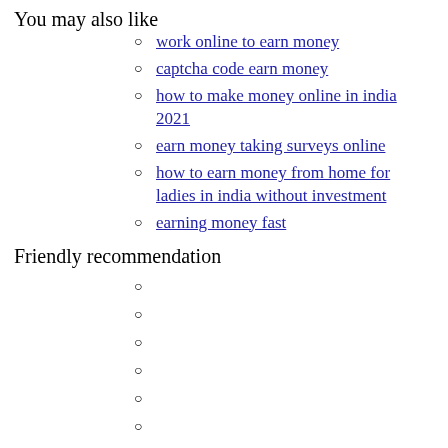You may also like
work online to earn money
captcha code earn money
how to make money online in india 2021
earn money taking surveys online
how to earn money from home for ladies in india without investment
earning money fast
Friendly recommendation
earn money online   how to earn money online   Links   Links2
Provide earn money online in india for students in english Online information earn money online in india for students in englishall rights reserved CopyRight 2021 All Rights Reserved.